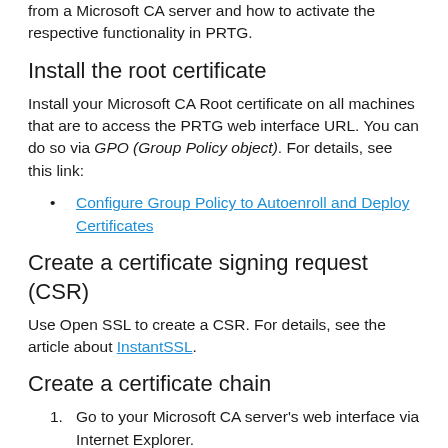explains how to generate a custom certificate from a Microsoft CA server and how to activate the respective functionality in PRTG.
Install the root certificate
Install your Microsoft CA Root certificate on all machines that are to access the PRTG web interface URL. You can do so via GPO (Group Policy object). For details, see this link:
Configure Group Policy to Autoenroll and Deploy Certificates
Create a certificate signing request (CSR)
Use Open SSL to create a CSR. For details, see the article about InstantSSL.
Create a certificate chain
1. Go to your Microsoft CA server's web interface via Internet Explorer.
2. On the Welcome page, select the task